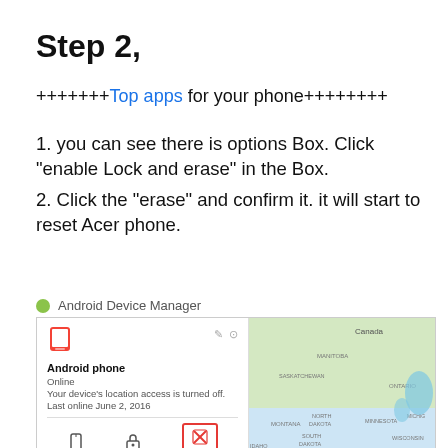Step 2,
+++++++Top apps for your phone++++++++
1. you can see there is options Box. Click “enable Lock and erase” in the Box.
2. Click the “erase” and confirm it. it will start to reset Acer phone.
[Figure (screenshot): Android Device Manager interface showing a map of North America with a white card panel on the left displaying 'Android phone', Online status, device location info, and three buttons: Ring, Lock, and Erase (highlighted with red border).]